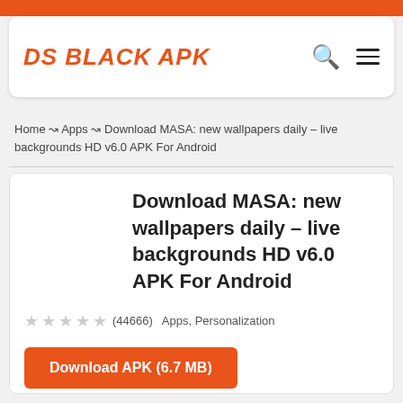DS BLACK APK
Home ↝ Apps ↝ Download MASA: new wallpapers daily – live backgrounds HD v6.0 APK For Android
Download MASA: new wallpapers daily – live backgrounds HD v6.0 APK For Android
☆☆☆☆☆ (44666)  Apps, Personalization
Download APK (6.7 MB)